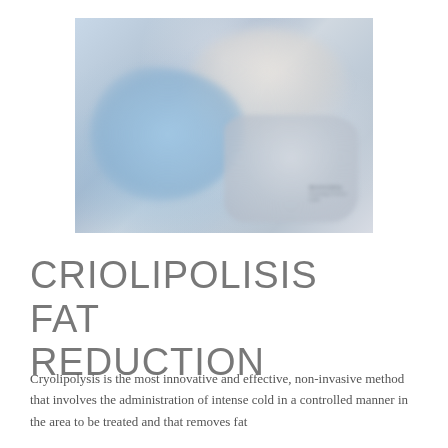[Figure (photo): Medical professional wearing blue gloves applying a cryolipolysis device to a patient lying down. The device appears to be a CoolSculpting machine. The image is slightly blurred with a clinical white/grey background.]
CRIOLIPOLISIS FAT REDUCTION
Cryolipolysis is the most innovative and effective, non-invasive method that involves the administration of intense cold in a controlled manner in the area to be treated and that removes fat